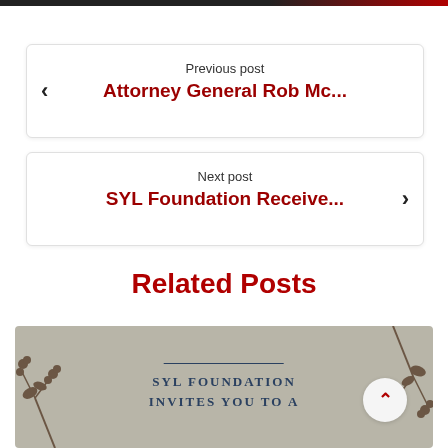Previous post
Attorney General Rob Mc...
Next post
SYL Foundation Receive...
Related Posts
[Figure (photo): SYL Foundation invitation card with berry branch decorations on gray background, text reads: SYL FOUNDATION INVITES YOU TO A]